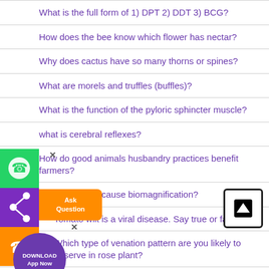What is the full form of 1) DPT 2) DDT 3) BCG?
How does the bee know which flower has nectar?
Why does cactus have so many thorns or spines?
What are morels and truffles (buffles)?
What is the function of the pyloric sphincter muscle?
what is cerebral reflexes?
How do good animals husbandry practices benefit farmers?
What materials cause biomagnification?
Tomato wilt is a viral disease. Say true or false
Which type of venation pattern are you likely to observe in rose plant?
How do wings differ from feather?
Explain cyclosis and in which organism it is absent.
[Figure (screenshot): Left sidebar with WhatsApp (green), share (purple), phone (orange) icons, an Ask Question orange popup with close X, a Download App Now purple circle button with close X, and an up-arrow navigation button in bottom right corner.]